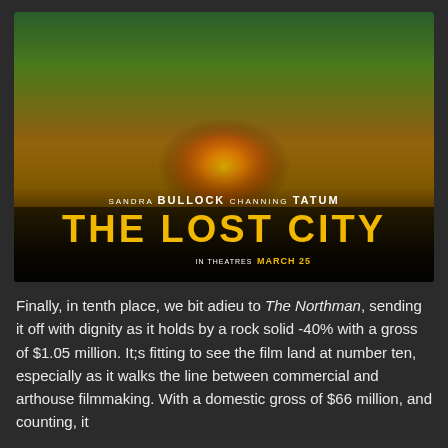[Figure (photo): Movie poster for 'The Lost City' featuring Sandra Bullock and Channing Tatum. Shows cast members against a jungle/explosion background. Text reads: SANDRA BULLOCK CHANNING TATUM, THE LOST CITY, IN THEATRES MARCH 25.]
Finally, in tenth place, we bit adieu to The Northman, sending it off with dignity as it holds by a rock solid -40% with a gross of $1.05 million. It;s fitting to see the film land at number ten, especially as it walks the line between commercial and arthouse filmmaking. With a domestic gross of $66 million, and counting, it